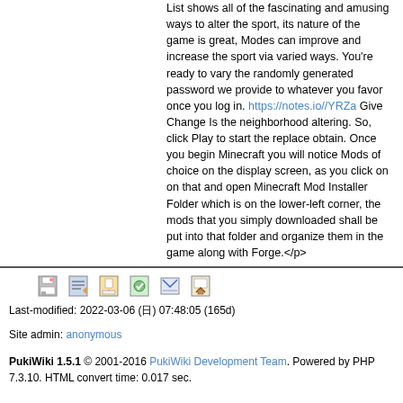List shows all of the fascinating and amusing ways to alter the sport, its nature of the game is great, Modes can improve and increase the sport via varied ways. You're ready to vary the randomly generated password we provide to whatever you favor once you log in. https://notes.io//YRZa Give Change Is the neighborhood altering. So, click Play to start the replace obtain. Once you begin Minecraft you will notice Mods of choice on the display screen, as you click on on that and open Minecraft Mod Installer Folder which is on the lower-left corner, the mods that you simply downloaded shall be put into that folder and organize them in the game along with Forge.</p>
Last-modified: 2022-03-06 (日) 07:48:05 (165d)
Site admin: anonymous
PukiWiki 1.5.1 © 2001-2016 PukiWiki Development Team. Powered by PHP 7.3.10. HTML convert time: 0.017 sec.